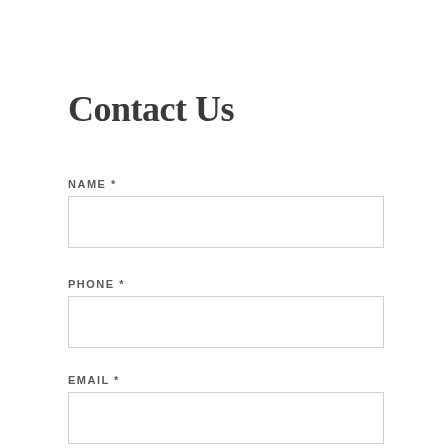Contact Us
NAME *
PHONE *
EMAIL *